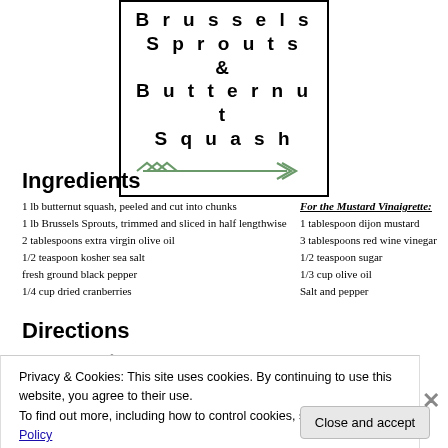[Figure (illustration): Decorative title box with bold spaced text reading 'Brussels Sprouts & Butternut Squash' with an arrow illustration below.]
Ingredients
1 lb butternut squash, peeled and cut into chunks
1 lb Brussels Sprouts, trimmed and sliced in half lengthwise
2 tablespoons extra virgin olive oil
1/2 teaspoon kosher sea salt
fresh ground black pepper
1/4 cup dried cranberries
For the Mustard Vinaigrette: 1 tablespoon dijon mustard, 3 tablespoons red wine vinegar, 1/2 teaspoon sugar, 1/3 cup olive oil, Salt and pepper
Directions
Privacy & Cookies: This site uses cookies. By continuing to use this website, you agree to their use. To find out more, including how to control cookies, see here: Cookie Policy